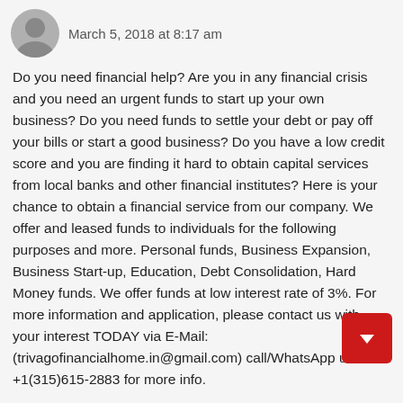March 5, 2018 at 8:17 am
Do you need financial help? Are you in any financial crisis and you need an urgent funds to start up your own business? Do you need funds to settle your debt or pay off your bills or start a good business? Do you have a low credit score and you are finding it hard to obtain capital services from local banks and other financial institutes? Here is your chance to obtain a financial service from our company. We offer and leased funds to individuals for the following purposes and more. Personal funds, Business Expansion, Business Start-up, Education, Debt Consolidation, Hard Money funds. We offer funds at low interest rate of 3%. For more information and application, please contact us with your interest TODAY via E-Mail: (trivagofinancialhome.in@gmail.com) call/WhatsApp us +1(315)615-2883 for more info.
Reply